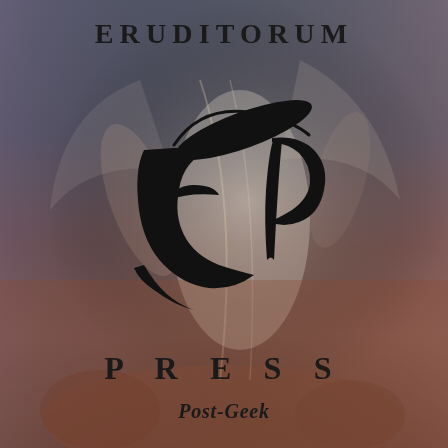ERUDITORUM
[Figure (logo): Eruditorum Press stylized 'EP' logo in black script/calligraphy on a muted background of a classical painting showing a winged figure]
PRESS
Post-Geek